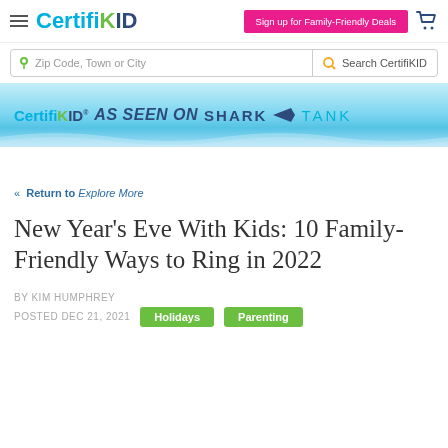CertifiKID — Sign up for Family-Friendly Deals
[Figure (screenshot): CertifiKID website banner: AS SEEN ON SHARK TANK with water background]
« Return to Explore More
New Year's Eve With Kids: 10 Family-Friendly Ways to Ring in 2022
BY KIM HUMPHREY
POSTED DEC 21, 2021
Holidays   Parenting